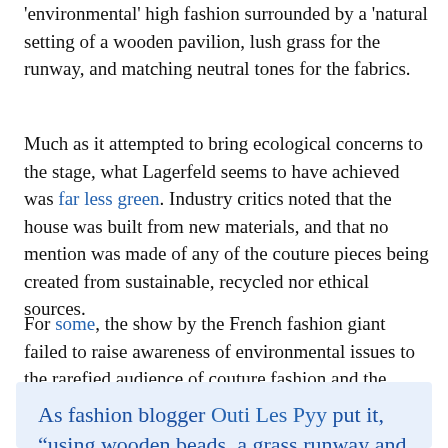environmental high fashion surrounded by a natural setting of a wooden pavilion, lush grass for the runway, and matching neutral tones for the fabrics.
Much as it attempted to bring ecological concerns to the stage, what Lagerfeld seems to have achieved was far less green. Industry critics noted that the house was built from new materials, and that no mention was made of any of the couture pieces being created from sustainable, recycled nor ethical sources.
For some, the show by the French fashion giant failed to raise awareness of environmental issues to the rarefied audience of couture fashion and the media that report it. In fact, it looked like another exercise in greenwashing.
As fashion blogger Outi Les Pyy put it, “using wooden beads, a grass runway and zen birds...